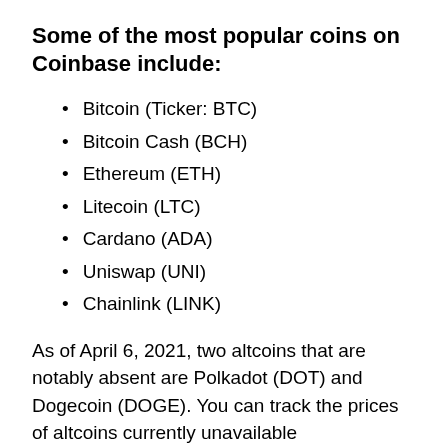Some of the most popular coins on Coinbase include:
Bitcoin (Ticker: BTC)
Bitcoin Cash (BCH)
Ethereum (ETH)
Litecoin (LTC)
Cardano (ADA)
Uniswap (UNI)
Chainlink (LINK)
As of April 6, 2021, two altcoins that are notably absent are Polkadot (DOT) and Dogecoin (DOGE). You can track the prices of altcoins currently unavailable